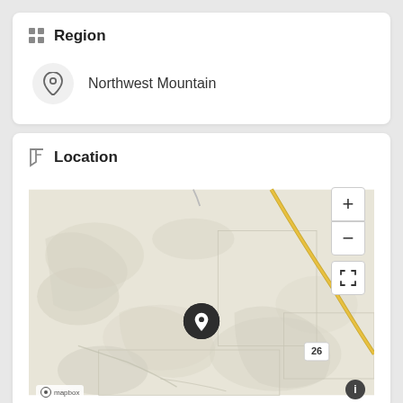Region
Northwest Mountain
Location
[Figure (map): Interactive map showing a location pin in a terrain/road map. A yellow road runs diagonally in the upper right. A dark circular location pin marker is centered in the map. Map controls include + (zoom in), - (zoom out), and a fullscreen icon. A route badge shows '26' in the lower right. A mapbox attribution logo appears at the bottom left.]